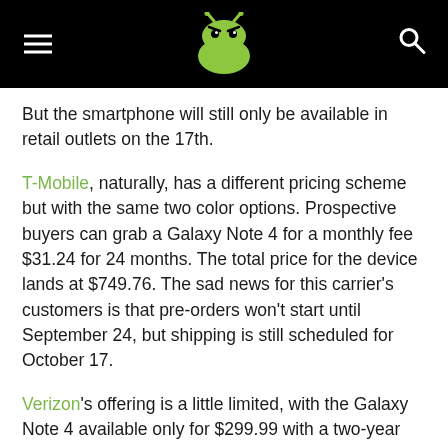AndroidPIT header with logo, hamburger menu, and search icon
But the smartphone will still only be available in retail outlets on the 17th.
T-Mobile, naturally, has a different pricing scheme but with the same two color options. Prospective buyers can grab a Galaxy Note 4 for a monthly fee $31.24 for 24 months. The total price for the device lands at $749.76. The sad news for this carrier's customers is that pre-orders won't start until September 24, but shipping is still scheduled for October 17.
Verizon's offering is a little limited, with the Galaxy Note 4 available only for $299.99 with a two-year contract. No news if a full retail version will be offered. That said, the carrier is throwing in a few bonuses in addition to making the smartphone available under their Verizon Edge